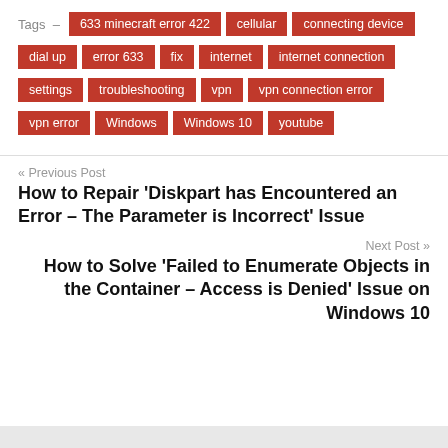Tags – 633 minecraft error 422, cellular, connecting device, dial up, error 633, fix, internet, internet connection, settings, troubleshooting, vpn, vpn connection error, vpn error, Windows, Windows 10, youtube
« Previous Post
How to Repair ‘Diskpart has Encountered an Error – The Parameter is Incorrect’ Issue
Next Post »
How to Solve ‘Failed to Enumerate Objects in the Container – Access is Denied’ Issue on Windows 10